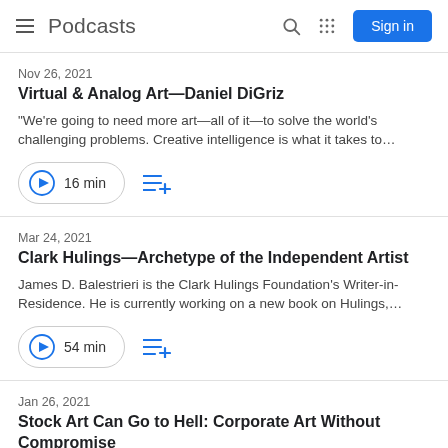Podcasts
Nov 26, 2021
Virtual & Analog Art—Daniel DiGriz
"We're going to need more art—all of it—to solve the world's challenging problems. Creative intelligence is what it takes to…
16 min
Mar 24, 2021
Clark Hulings—Archetype of the Independent Artist
James D. Balestrieri is the Clark Hulings Foundation's Writer-in-Residence. He is currently working on a new book on Hulings,…
54 min
Jan 26, 2021
Stock Art Can Go to Hell: Corporate Art Without Compromise